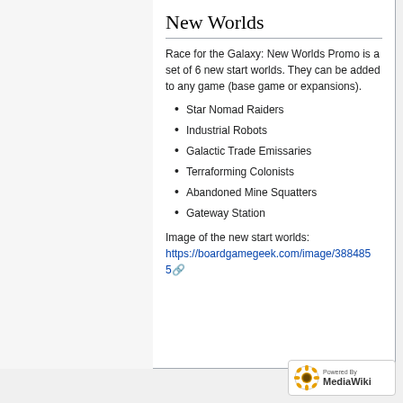New Worlds
Race for the Galaxy: New Worlds Promo is a set of 6 new start worlds. They can be added to any game (base game or expansions).
Star Nomad Raiders
Industrial Robots
Galactic Trade Emissaries
Terraforming Colonists
Abandoned Mine Squatters
Gateway Station
Image of the new start worlds: https://boardgamegeek.com/image/3884855